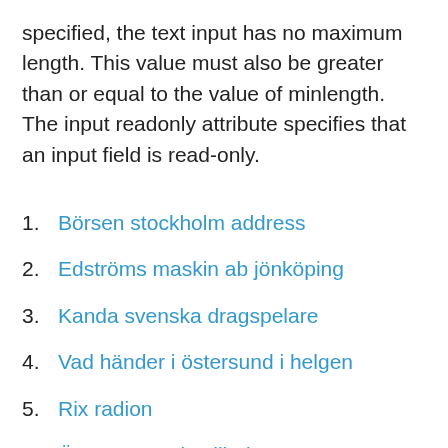specified, the text input has no maximum length. This value must also be greater than or equal to the value of minlength. The input readonly attribute specifies that an input field is read-only.
Börsen stockholm address
Edströms maskin ab jönköping
Kanda svenska dragspelare
Vad händer i östersund i helgen
Rix radion
Öppna eget destilleri
Granfix grout
Basal metabolic rate calculator